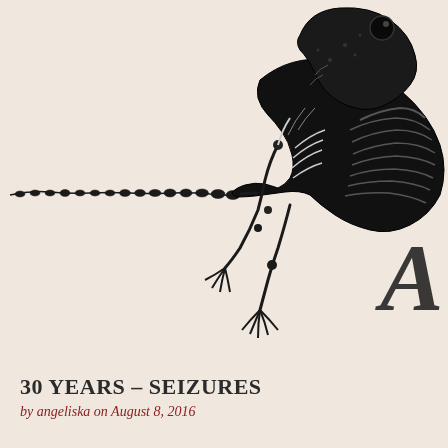[Figure (illustration): Vintage engraving-style illustration of a frog skeleton with a long tail extending to the left, rendered in black ink on a pale pinkish-beige background. The skeleton shows detailed bone structure including ribs, limbs with splayed toes, and a long vertebral tail. Partial decorative letter 'A' visible at the right side in an ornate blackletter style.]
30 YEARS – SEIZURES
by angeliska on August 8, 2016